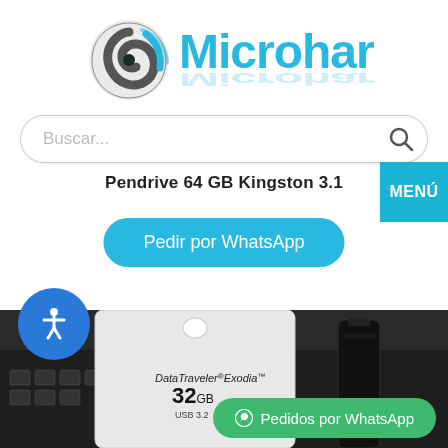[Figure (logo): Microhard logo with blue spiral/shutter icon and blue text 'Microhard' with reflection]
[Figure (screenshot): Search bar with placeholder text 'Buscar...' and search icon]
Pendrive 64 GB Kingston 3.1
[Figure (screenshot): Cyan MENÚ button on right side]
[Figure (screenshot): Blue rounded button 'Pedir por WhatsApp']
[Figure (photo): Kingston DataTraveler Exodia 32GB USB 3.2 product packaging and USB drive on dark background with keyboard and mouse]
[Figure (screenshot): Blue circular accessibility icon button]
[Figure (screenshot): Green rounded button 'Pedidos por WhatsApp' at bottom right]